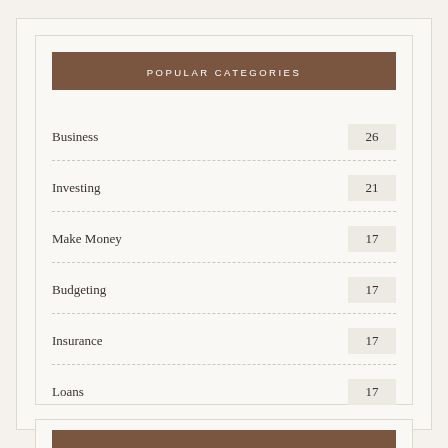POPULAR CATEGORIES
Business 26
Investing 21
Make Money 17
Budgeting 17
Insurance 17
Loans 17
NEWSLETTER